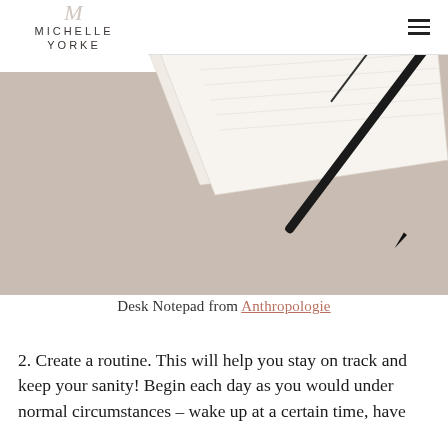MICHELLE YORKE
[Figure (photo): Overhead photo of a beige/tan desk surface with a white notepad and a black pen resting diagonally on the surface.]
Desk Notepad from Anthropologie
2. Create a routine. This will help you stay on track and keep your sanity! Begin each day as you would under normal circumstances – wake up at a certain time, have